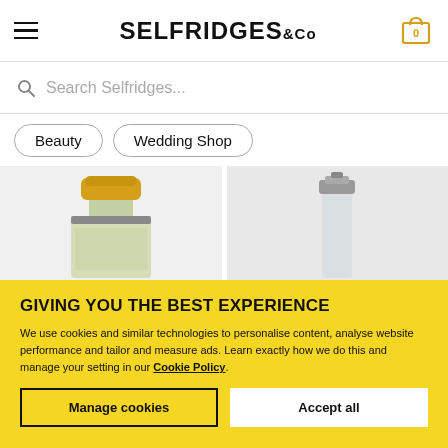SELFRIDGES & CO
Search Selfridges...
Beauty
Wedding Shop
[Figure (photo): Two perfume bottles on light grey background - left bottle is golden/yellow Creed perfume, right bottle partially visible silver bottle]
GIVING YOU THE BEST EXPERIENCE
We use cookies and similar technologies to personalise content, analyse website performance and tailor and measure ads. Learn exactly how we do this and manage your setting in our Cookie Policy.
Manage cookies
Accept all